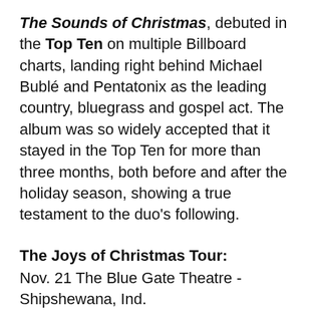The Sounds of Christmas, debuted in the Top Ten on multiple Billboard charts, landing right behind Michael Bublé and Pentatonix as the leading country, bluegrass and gospel act. The album was so widely accepted that it stayed in the Top Ten for more than three months, both before and after the holiday season, showing a true testament to the duo's following.
The Joys of Christmas Tour:
Nov. 21 The Blue Gate Theatre - Shipshewana, Ind.
Nov. 22 First Christian Church Ministries